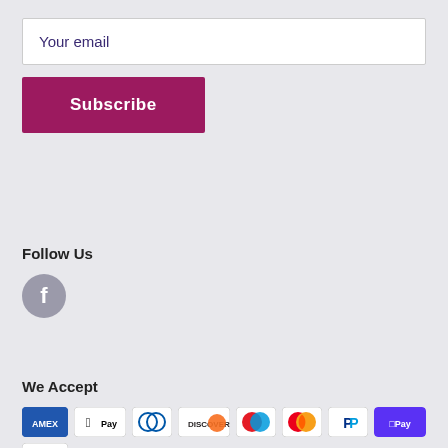Your email
Subscribe
Follow Us
[Figure (logo): Facebook icon — grey circle with white 'f' letter]
We Accept
[Figure (logo): Payment method icons: Amex, Apple Pay, Diners Club, Discover, Maestro, Mastercard, PayPal, Shop Pay, Visa]
© 247 Bargains
Powered by Shopify